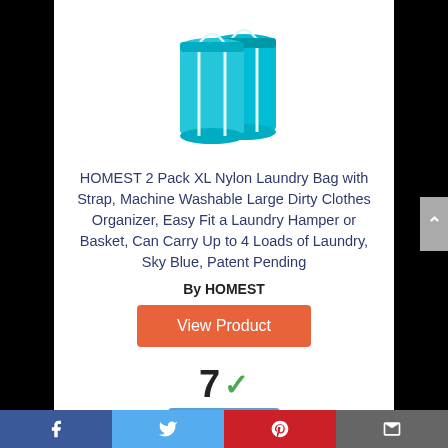[Figure (photo): Two turquoise/teal nylon laundry bags with white drawstring straps standing upright side by side]
HOMEST 2 Pack XL Nylon Laundry Bag with Strap, Machine Washable Large Dirty Clothes Organizer, Easy Fit a Laundry Hamper or Basket, Can Carry Up to 4 Loads of Laundry, Sky Blue, Patent Pending
By HOMEST
View Product
7 ✓
Score